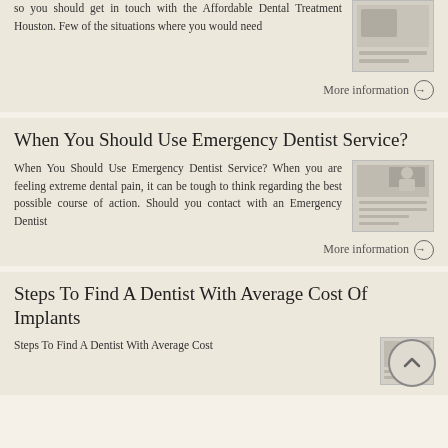so you should get in touch with the Affordable Dental Treatment Houston. Few of the situations where you would need
More information →
When You Should Use Emergency Dentist Service?
When You Should Use Emergency Dentist Service? When you are feeling extreme dental pain, it can be tough to think regarding the best possible course of action. Should you contact with an Emergency Dentist
[Figure (screenshot): Thumbnail image of article about Emergency Dentist Service]
More information →
Steps To Find A Dentist With Average Cost Of Implants
Steps To Find A Dentist With Average Cost